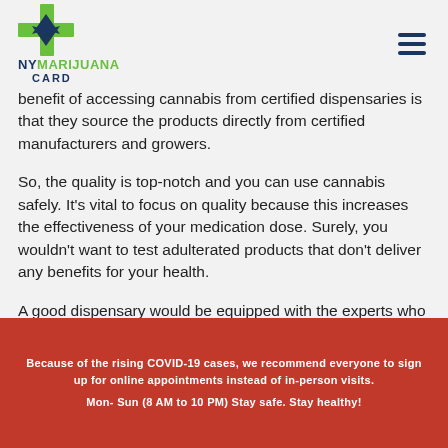[Figure (logo): NY Marijuana Card logo with green and blue cannabis leaf and cross icon]
benefit of accessing cannabis from certified dispensaries is that they source the products directly from certified manufacturers and growers.
So, the quality is top-notch and you can use cannabis safely. It's vital to focus on quality because this increases the effectiveness of your medication dose. Surely, you wouldn't want to test adulterated products that don't deliver any benefits for your health.
A good dispensary would be equipped with the experts who will guide you in selecting the right products for your needs.
Because of the rising COVID-19 cases, we recommend everyone to sign up for online appointments instead of in-person visits.
Mon- Sun (8 AM to 10 PM) Stay safe. Stay healthy!